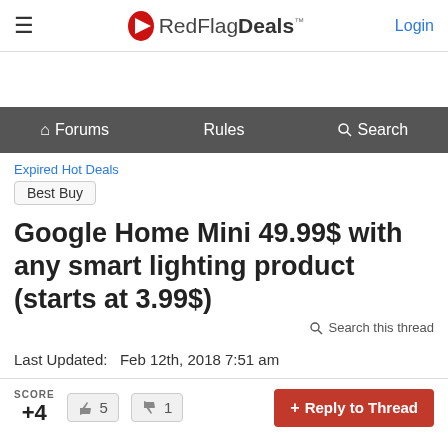RedFlagDeals™ — Login
Forums  Rules  Search
Expired Hot Deals
Best Buy
Google Home Mini 49.99$ with any smart lighting product (starts at 3.99$)
Search this thread
Last Updated:  Feb 12th, 2018 7:51 am
SCORE +4  👍 5  👎 1   + Reply to Thread